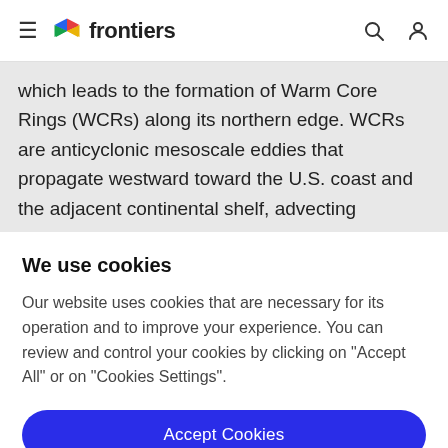frontiers
which leads to the formation of Warm Core Rings (WCRs) along its northern edge. WCRs are anticyclonic mesoscale eddies that propagate westward toward the U.S. coast and the adjacent continental shelf, advecting
We use cookies
Our website uses cookies that are necessary for its operation and to improve your experience. You can review and control your cookies by clicking on "Accept All" or on "Cookies Settings".
Accept Cookies
Cookies Settings